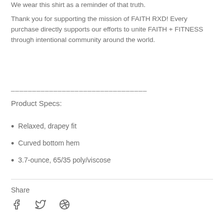We wear this shirt as a reminder of that truth.
Thank you for supporting the mission of FAITH RXD! Every purchase directly supports our efforts to unite FAITH + FITNESS through intentional community around the world.
________________________________
Product Specs:
Relaxed, drapey fit
Curved bottom hem
3.7-ounce, 65/35 poly/viscose
Share